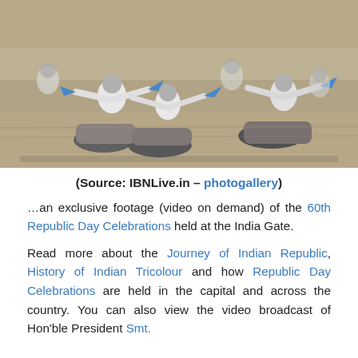[Figure (photo): Motorcycle stunt performers in white uniforms and helmets riding motorcycles during Republic Day celebrations, waving blue and Indian flags, captured in motion blur.]
(Source: IBNLive.in – photogallery)
…an exclusive footage (video on demand) of the 60th Republic Day Celebrations held at the India Gate.
Read more about the Journey of Indian Republic, History of Indian Tricolour and how Republic Day Celebrations are held in the capital and across the country. You can also view the video broadcast of Hon'ble President Smt.